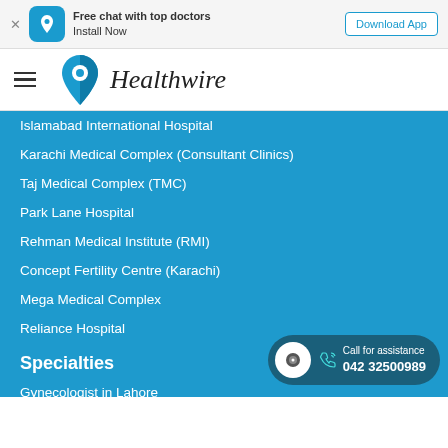Free chat with top doctors | Install Now | Download App
[Figure (logo): Healthwire logo with teal heart/location pin icon and italic text 'Healthwire']
Islamabad International Hospital
Karachi Medical Complex (Consultant Clinics)
Taj Medical Complex (TMC)
Park Lane Hospital
Rehman Medical Institute (RMI)
Concept Fertility Centre (Karachi)
Mega Medical Complex
Reliance Hospital
Specialties
Gynecologist in Lahore
Dermatologist in Lahore
General-physician in Lahore
Call for assistance 042 32500989